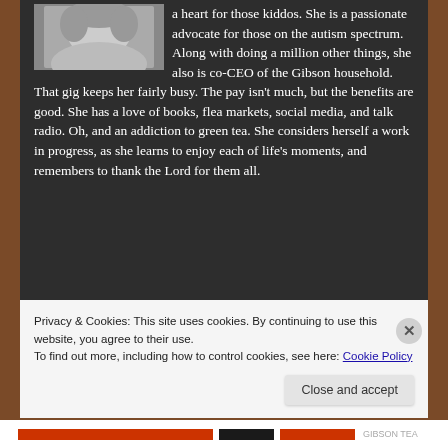[Figure (photo): Black and white photo of a woman, partially visible in upper left, cropped]
a heart for those kiddos. She is a passionate advocate for those on the autism spectrum. Along with doing a million other things, she also is co-CEO of the Gibson household. That gig keeps her fairly busy. The pay isn't much, but the benefits are good. She has a love of books, flea markets, social media, and talk radio. Oh, and an addiction to green tea. She considers herself a work in progress, as she learns to enjoy each of life's moments, and remembers to thank the Lord for them all.
Privacy & Cookies: This site uses cookies. By continuing to use this website, you agree to their use.
To find out more, including how to control cookies, see here: Cookie Policy